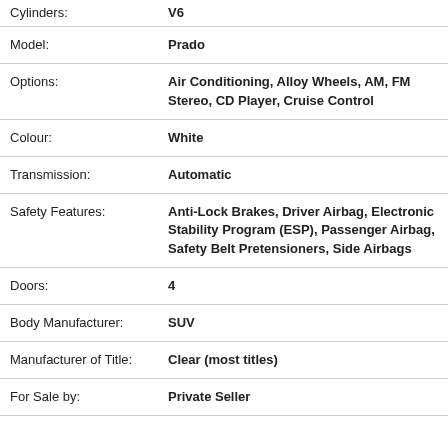| Field | Value |
| --- | --- |
| Cylinders: | V6 |
| Model: | Prado |
| Options: | Air Conditioning, Alloy Wheels, AM, FM Stereo, CD Player, Cruise Control |
| Colour: | White |
| Transmission: | Automatic |
| Safety Features: | Anti-Lock Brakes, Driver Airbag, Electronic Stability Program (ESP), Passenger Airbag, Safety Belt Pretensioners, Side Airbags |
| Doors: | 4 |
| Body Manufacturer: | SUV |
| Manufacturer of Title: | Clear (most titles) |
| For Sale by: | Private Seller |